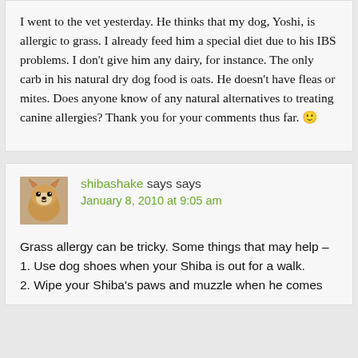I went to the vet yesterday. He thinks that my dog, Yoshi, is allergic to grass. I already feed him a special diet due to his IBS problems. I don't give him any dairy, for instance. The only carb in his natural dry dog food is oats. He doesn't have fleas or mites. Does anyone know of any natural alternatives to treating canine allergies? Thank you for your comments thus far. 🙂
[Figure (photo): Avatar photo of a Shiba Inu dog]
shibashake says
January 8, 2010 at 9:05 am
Grass allergy can be tricky. Some things that may help – 1. Use dog shoes when your Shiba is out for a walk. 2. Wipe your Shiba's paws and muzzle when he comes